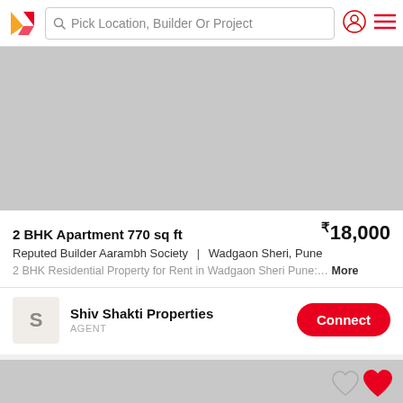Pick Location, Builder Or Project
[Figure (photo): Property listing image placeholder (gray)]
2 BHK Apartment 770 sq ft ₹18,000
Reputed Builder Aarambh Society | Wadgaon Sheri, Pune
2 BHK Residential Property for Rent in Wadgaon Sheri Pune:... More
Shiv Shakti Properties
AGENT
[Figure (photo): Second property listing image placeholder (gray) with heart/favorite icons]